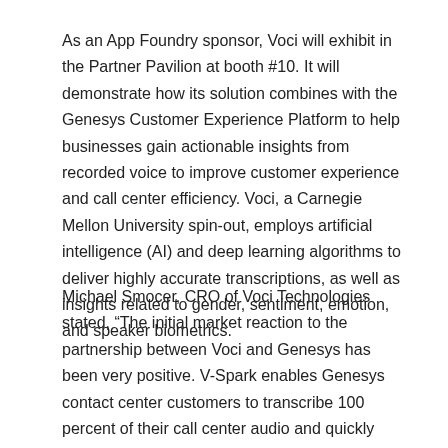As an App Foundry sponsor, Voci will exhibit in the Partner Pavilion at booth #10. It will demonstrate how its solution combines with the Genesys Customer Experience Platform to help businesses gain actionable insights from recorded voice to improve customer experience and call center efficiency. Voci, a Carnegie Mellon University spin-out, employs artificial intelligence (AI) and deep learning algorithms to deliver highly accurate transcriptions, as well as insights related to gender, sentiment, emotion, and speaker biometrics.
Michael Smocer, CRO of Voci Technologies stated, “The initial market reaction to the partnership between Voci and Genesys has been very positive. V-Spark enables Genesys contact center customers to transcribe 100 percent of their call center audio and quickly search and identify critical